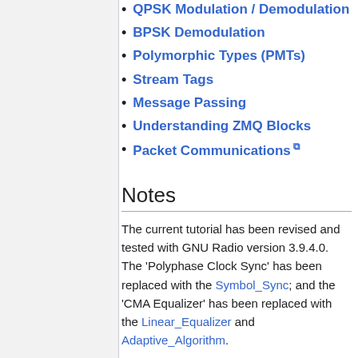QPSK Modulation / Demodulation
BPSK Demodulation
Polymorphic Types (PMTs)
Stream Tags
Message Passing
Understanding ZMQ Blocks
Packet Communications
Notes
The current tutorial has been revised and tested with GNU Radio version 3.9.4.0. The 'Polyphase Clock Sync' has been replaced with the Symbol_Sync; and the 'CMA Equalizer' has been replaced with the Linear_Equalizer and Adaptive_Algorithm.
Links to the flowgraphs have been updated to GNU Radio version 3.9.4.0.